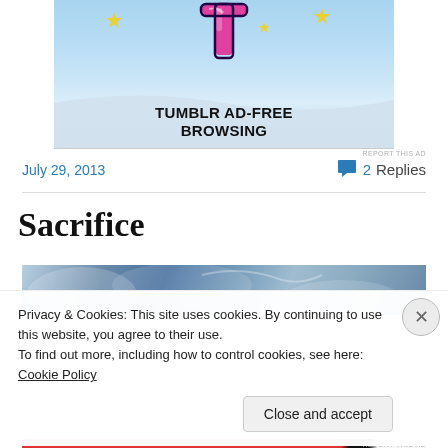[Figure (screenshot): Tumblr ad-free browsing advertisement banner with Tumblr logo T in pink/magenta color, sparkles, blue sky background, and bold text 'TUMBLR AD-FREE BROWSING']
REPORT THIS AD
July 29, 2013
2 Replies
Sacrifice
[Figure (photo): Partial photo with blue sky/cloudy background, partially obscured by cookie consent banner]
Privacy & Cookies: This site uses cookies. By continuing to use this website, you agree to their use.
To find out more, including how to control cookies, see here: Cookie Policy
Close and accept